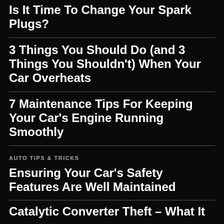Is It Time To Change Your Spark Plugs?
3 Things You Should Do (and 3 Things You Shouldn't) When Your Car Overheats
7 Maintenance Tips For Keeping Your Car's Engine Running Smoothly
AUTO TIPS & TRICKS
Ensuring Your Car's Safety Features Are Well Maintained
Catalytic Converter Theft – What It